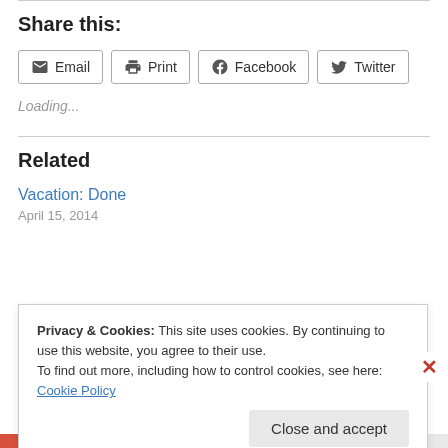Share this:
Email  Print  Facebook  Twitter
Loading...
Related
Vacation: Done
April 15, 2014
Privacy & Cookies: This site uses cookies. By continuing to use this website, you agree to their use.
To find out more, including how to control cookies, see here: Cookie Policy
Close and accept